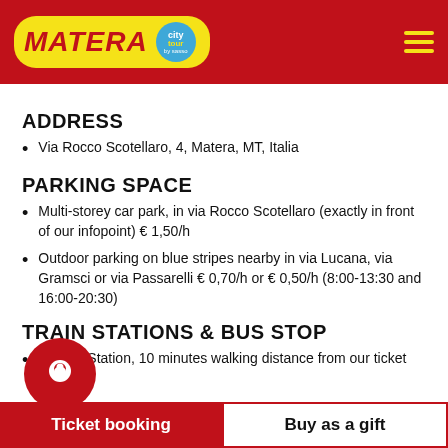[Figure (logo): Matera City Tour logo with yellow background and blue circular badge, on red header bar with hamburger menu icon]
ADDRESS
Via Rocco Scotellaro, 4, Matera, MT, Italia
PARKING SPACE
Multi-storey car park, in via Rocco Scotellaro (exactly in front of our infopoint) € 1,50/h
Outdoor parking on blue stripes nearby in via Lucana, via Gramsci or via Passarelli € 0,70/h or € 0,50/h (8:00-13:30 and 16:00-20:30)
TRAIN STATIONS & BUS STOP
Central Station, 10 minutes walking distance from our ticket office
Ticket booking   Buy as a gift